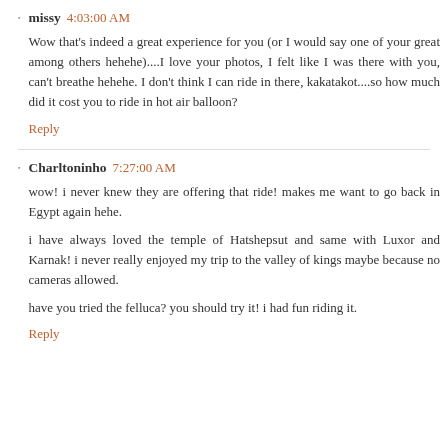missy 4:03:00 AM
Wow that's indeed a great experience for you (or I would say one of your great among others hehehe)....I love your photos, I felt like I was there with you, can't breathe hehehe. I don't think I can ride in there, kakatakot....so how much did it cost you to ride in hot air balloon?
Reply
Charltoninho 7:27:00 AM
wow! i never knew they are offering that ride! makes me want to go back in Egypt again hehe.
i have always loved the temple of Hatshepsut and same with Luxor and Karnak! i never really enjoyed my trip to the valley of kings maybe because no cameras allowed.
have you tried the felluca? you should try it! i had fun riding it.
Reply